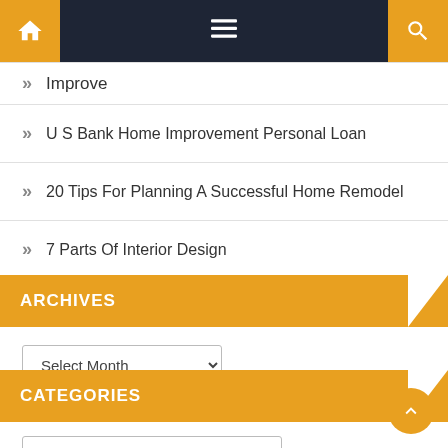Navigation bar with home, menu, and search icons
Improve
U S Bank Home Improvement Personal Loan
20 Tips For Planning A Successful Home Remodel
7 Parts Of Interior Design
ARCHIVES
Select Month
CATEGORIES
Select Category